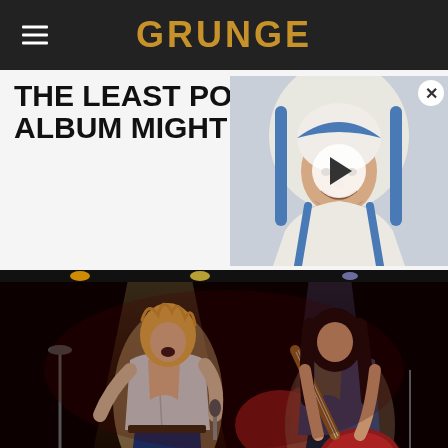GRUNGE
THE LEAST POPULAR ALBUM MIGHT SURPRISE YOU
[Figure (photo): Video thumbnail showing an elderly nun (Mother Teresa) in white and blue habit, smiling, with a play button overlay and close button]
[Figure (photo): Concert photo of Led Zeppelin performing live on stage, Robert Plant singing on left and Jimmy Page playing guitar on right, with drums and spotlights in background. Shutterstock watermark bottom right.]